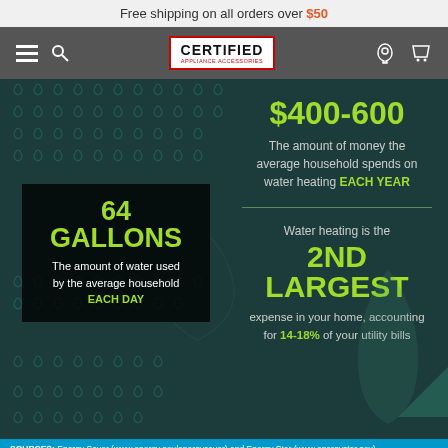Free shipping on all orders over $50
[Figure (logo): Certified Appliance Accessories logo with navigation bar]
[Figure (infographic): Water usage infographic: 64 Gallons used by average household each day. $400-600 amount spent on water heating each year. Water heating is the 2nd largest expense accounting for 14-18% of utility bills.]
SOURCES: Energy Saver (www.energy.gov/energysaver) and Energy Star (www.energystar.gov)